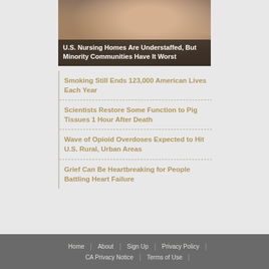[Figure (photo): Photo of elderly people in a nursing home setting, partially visible at the top of the page]
U.S. Nursing Homes Are Understaffed, But Minority Communities Have It Worst
Smoking Still Ends 123,000 American Lives Each Year
Scientists Restore Some Function to Pig Tissues 1 Hour After Death
Wave of Opioid Overdoses Expected to Hit U.S. Rural, Urban Areas
Grief Can Be Heartbreaking for People Battling Heart Failure
Home | About | Sign Up | Privacy Policy | CA Privacy Notice | Terms of Use